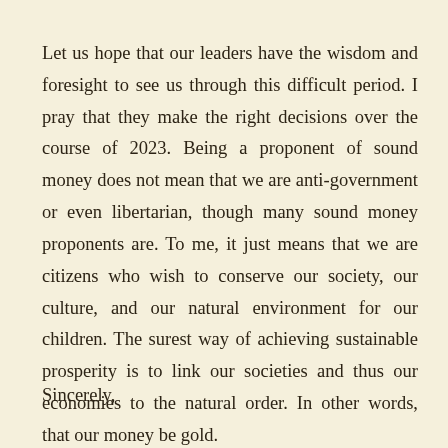Let us hope that our leaders have the wisdom and foresight to see us through this difficult period. I pray that they make the right decisions over the course of 2023. Being a proponent of sound money does not mean that we are anti-government or even libertarian, though many sound money proponents are. To me, it just means that we are citizens who wish to conserve our society, our culture, and our natural environment for our children. The surest way of achieving sustainable prosperity is to link our societies and thus our economies to the natural order. In other words, that our money be gold.
Sincerely,